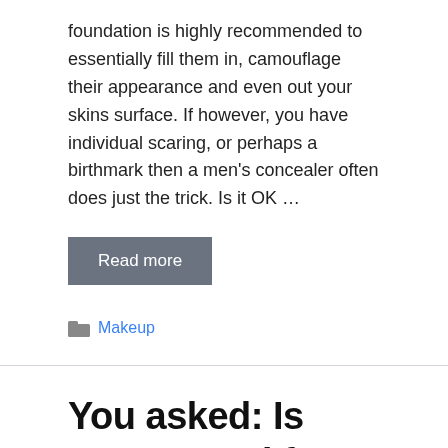foundation is highly recommended to essentially fill them in, camouflage their appearance and even out your skins surface. If however, you have individual scaring, or perhaps a birthmark then a men's concealer often does just the trick. Is it OK ...
Read more
Makeup
You asked: Is Detox good for acne?